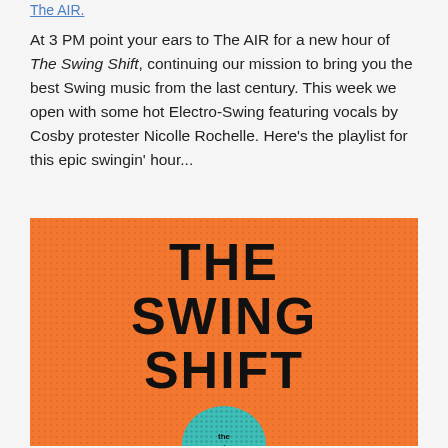The AIR.
At 3 PM point your ears to The AIR for a new hour of The Swing Shift, continuing our mission to bring you the best Swing music from the last century. This week we open with some hot Electro-Swing featuring vocals by Cosby protester Nicolle Rochelle. Here’s the playlist for this epic swingin’ hour...
[Figure (illustration): Orange square album art with bold black text reading THE SWING SHIFT stacked on three lines, with a teal halftone circle graphic partially visible at the bottom. Orange background has dot halftone pattern texture.]